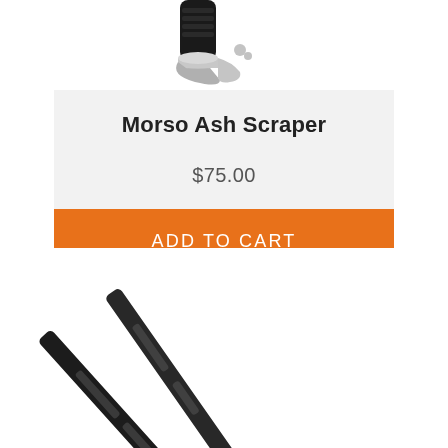[Figure (photo): Partial image of a Morso ash scraper tool (metal, silver/chrome), cropped at top of page]
Morso Ash Scraper
$75.00
ADD TO CART
[Figure (photo): Partial image of black metal tongs or fireplace tool, cropped at bottom of page]